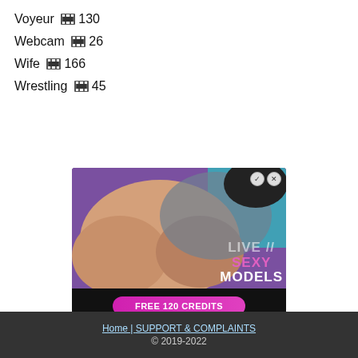Voyeur 🎞 130
Webcam 🎞 26
Wife 🎞 166
Wrestling 🎞 45
[Figure (photo): Adult advertisement banner with text LIVE SEXY MODELS and FREE 120 CREDITS button]
Home | SUPPORT & COMPLAINTS © 2019-2022